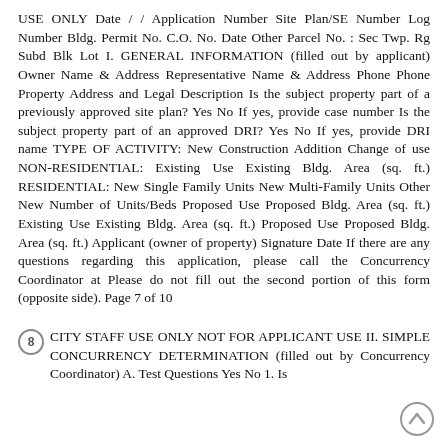USE ONLY Date / / Application Number Site Plan/SE Number Log Number Bldg. Permit No. C.O. No. Date Other Parcel No. : Sec Twp. Rg Subd Blk Lot I. GENERAL INFORMATION (filled out by applicant) Owner Name & Address Representative Name & Address Phone Phone Property Address and Legal Description Is the subject property part of a previously approved site plan? Yes No If yes, provide case number Is the subject property part of an approved DRI? Yes No If yes, provide DRI name TYPE OF ACTIVITY: New Construction Addition Change of use NON-RESIDENTIAL: Existing Use Existing Bldg. Area (sq. ft.) RESIDENTIAL: New Single Family Units New Multi-Family Units Other New Number of Units/Beds Proposed Use Proposed Bldg. Area (sq. ft.) Existing Use Existing Bldg. Area (sq. ft.) Proposed Use Proposed Bldg. Area (sq. ft.) Applicant (owner of property) Signature Date If there are any questions regarding this application, please call the Concurrency Coordinator at Please do not fill out the second portion of this form (opposite side). Page 7 of 10
8 CITY STAFF USE ONLY NOT FOR APPLICANT USE II. SIMPLE CONCURRENCY DETERMINATION (filled out by Concurrency Coordinator) A. Test Questions Yes No 1. Is